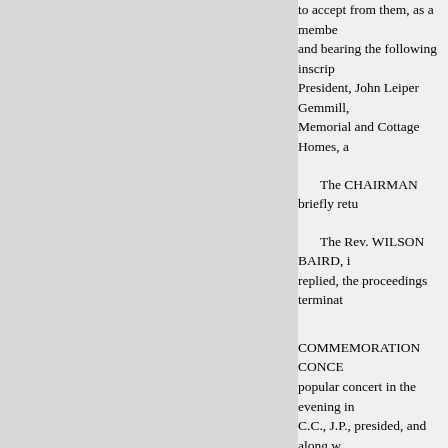to accept from them, as a membe and bearing the following inscrip President, John Leiper Gemmill, Memorial and Cottage Homes, a The CHAIRMAN briefly retu The Rev. WILSON BAIRD, i replied, the proceedings termina COMMEMORATION CONCE popular concert in the evening i C.C., J.P., presided, and along w Miss Margaret Constance Burns Sheriff Brand, Mr. Eugene Waso Gemmill, Mr. and Mrs. Thomas Mr. Bain, who was cordially r After to-day's most interesting further speeches, than to hear so gratifying that one of our singers well remember reading Lord You occasion of the unveiling of the s he had often visited Jean Armou memory that he felt, he said, if h Lord Young further said that he